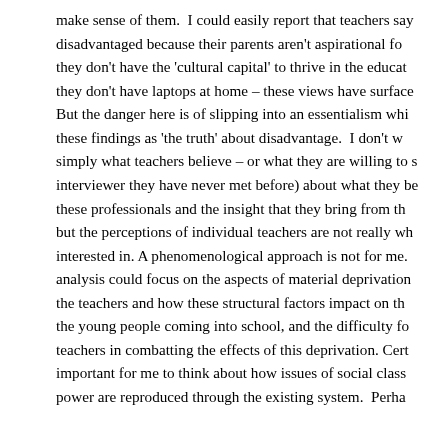make sense of them. I could easily report that teachers say disadvantaged because their parents aren't aspirational fo they don't have the 'cultural capital' to thrive in the educat they don't have laptops at home – these views have surface But the danger here is of slipping into an essentialism whi these findings as 'the truth' about disadvantage. I don't w simply what teachers believe – or what they are willing to s interviewer they have never met before) about what they be these professionals and the insight that they bring from th but the perceptions of individual teachers are not really wh interested in. A phenomenological approach is not for me. analysis could focus on the aspects of material deprivation the teachers and how these structural factors impact on th the young people coming into school, and the difficulty fo teachers in combatting the effects of this deprivation. Cert important for me to think about how issues of social class power are reproduced through the existing system. Perha